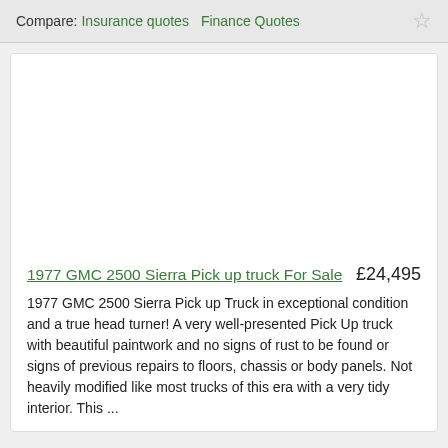Compare: Insurance quotes  Finance Quotes
[Figure (photo): Vehicle listing image area (blank/white placeholder for 1977 GMC 2500 Sierra Pick up truck)]
1977 GMC 2500 Sierra Pick up truck For Sale  £24,495
1977 GMC 2500 Sierra Pick up Truck in exceptional condition and a true head turner! A very well-presented Pick Up truck with beautiful paintwork and no signs of rust to be found or signs of previous repairs to floors, chassis or body panels. Not heavily modified like most trucks of this era with a very tidy interior. This ...